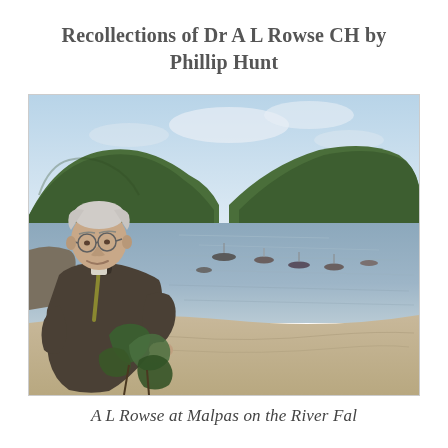Recollections of Dr A L Rowse CH by Phillip Hunt
[Figure (photo): Photograph of an elderly man (A L Rowse) standing outdoors at Malpas on the River Fal. He is wearing glasses and a dark tweed jacket with a tie, smiling. Behind him is a wide tidal river estuary with several boats moored on the water, sandy shores, and densely wooded green hillsides under a partly cloudy sky.]
A L Rowse at Malpas on the River Fal